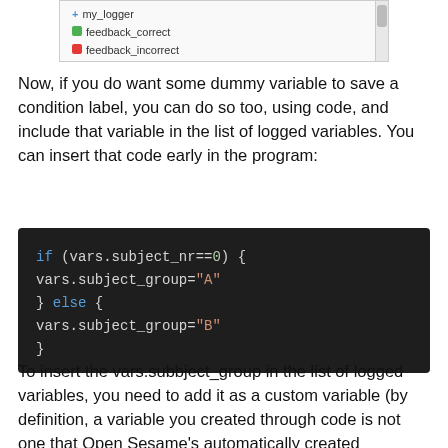[Figure (screenshot): Screenshot showing a list with items: my_logger, feedback_correct, feedback_incorrect with a scrollbar on the right]
Now, if you do want some dummy variable to save a condition label, you can do so too, using code, and include that variable in the list of logged variables. You can insert that code early in the program:
[Figure (screenshot): Code block on dark background showing: if (vars.subject_nr==0) { vars.subject_group="A" } else { vars.subject_group="B" }]
To insert the vars.subbject_group in the list of logged variables, you need to add it as a custom variable (by definition, a variable you created through code is not one that Open Sesame's automatically created variables and so it won't show in the variables inspector):